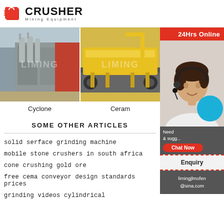[Figure (logo): Crusher Mining Equipment logo with red shopping bag icon and bold CRUSHER text]
[Figure (photo): Industrial cyclone dust collectors / grinding equipment at a facility]
[Figure (photo): Large yellow ceramic/industrial equipment on a flatbed truck]
Cyclone
Ceram
SOME OTHER ARTICLES
solid serface grinding machine
mobile stone crushers in south africa
cone crushing gold ore
free cema conveyor design standards prices
grinding videos cylindrical
[Figure (photo): 24Hrs Online banner with customer service representative wearing headset]
Need & suggestions
Chat Now
Enquiry
limingjlmofen@sina.com